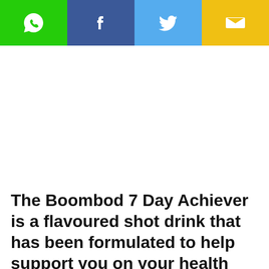[Figure (infographic): Social sharing bar with four buttons: WhatsApp (green), Facebook (dark blue), Twitter (light blue), Email (yellow/gold), each with a white icon]
The Boombod 7 Day Achiever is a flavoured shot drink that has been formulated to help support you on your health and fitness journey.